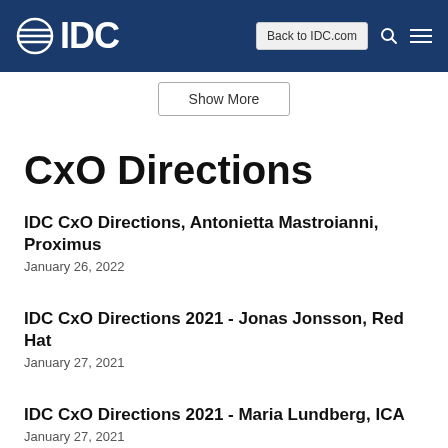IDC — Back to IDC.com
Show More
CxO Directions
IDC CxO Directions, Antonietta Mastroianni, Proximus
January 26, 2022
IDC CxO Directions 2021 - Jonas Jonsson, Red Hat
January 27, 2021
IDC CxO Directions 2021 - Maria Lundberg, ICA
January 27, 2021